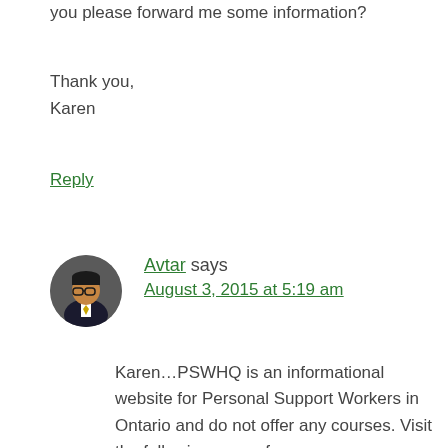you please forward me some information?
Thank you,
Karen
Reply
Avtar says
August 3, 2015 at 5:19 am
Karen…PSWHQ is an informational website for Personal Support Workers in Ontario and do not offer any courses. Visit the following pages for more